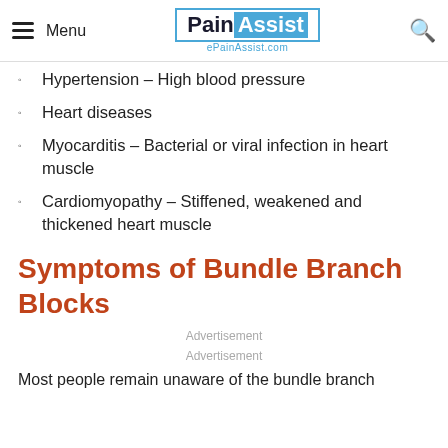Menu | PainAssist | ePainAssist.com
Hypertension – High blood pressure
Heart diseases
Myocarditis – Bacterial or viral infection in heart muscle
Cardiomyopathy – Stiffened, weakened and thickened heart muscle
Symptoms of Bundle Branch Blocks
Advertisement
Advertisement
Most people remain unaware of the bundle branch